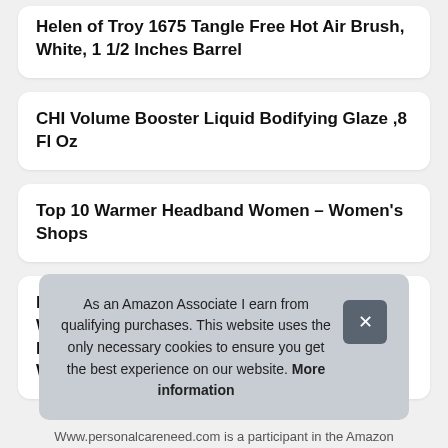Helen of Troy 1675 Tangle Free Hot Air Brush, White, 1 1/2 Inches Barrel
CHI Volume Booster Liquid Bodifying Glaze ,8 Fl Oz
Top 10 Warmer Headband Women – Women's Shops
MOONHOUSE 2018 Ladies New Fashion Women Casual Sexy Hollow V NeckShirt Tee Loose Long Sleeve Top Blouse Plus Size XL, White
As an Amazon Associate I earn from qualifying purchases. This website uses the only necessary cookies to ensure you get the best experience on our website. More information
Www.personalcareneed.com is a participant in the Amazon